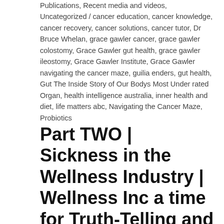Publications, Recent media and videos, Uncategorized / cancer education, cancer knowledge, cancer recovery, cancer solutions, cancer tutor, Dr Bruce Whelan, grace gawler cancer, grace gawler colostomy, Grace Gawler gut health, grace gawler ileostomy, Grace Gawler Institute, Grace Gawler navigating the cancer maze, guilia enders, gut health, Gut The Inside Story of Our Bodys Most Under rated Organ, health intelligence australia, inner health and diet, life matters abc, Navigating the Cancer Maze, Probiotics
Part TWO | Sickness in the Wellness Industry | Wellness Inc a time for Truth-Telling and Common Sense | Grace Gawr...